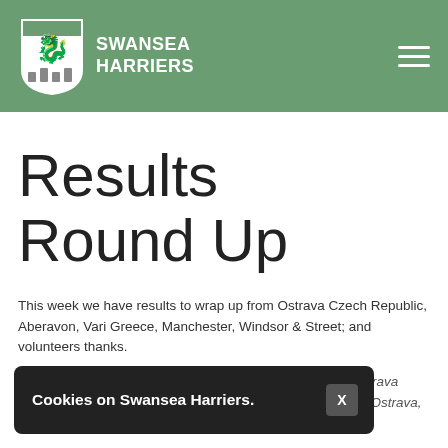SWANSEA HARRIERS
Results Round Up
This week we have results to wrap up from Ostrava Czech Republic, Aberavon, Vari Greece, Manchester, Windsor & Street; and volunteers thanks.
Tuesday 31st May SM Jonathan Hopkins runs a 842... Ostrava Golden Spike – World Athletics Continental Tour Bronze in Ostrava, Czech Republic, well done Jonathan!